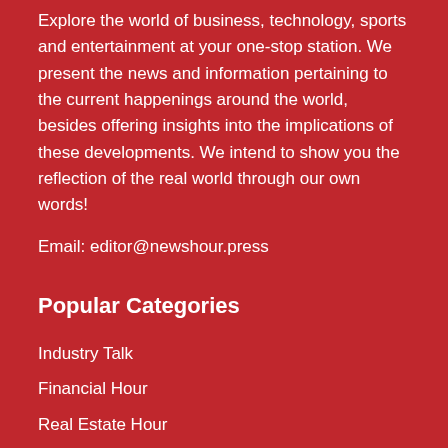Explore the world of business, technology, sports and entertainment at your one-stop station. We present the news and information pertaining to the current happenings around the world, besides offering insights into the implications of these developments. We intend to show you the reflection of the real world through our own words!
Email: editor@newshour.press
Popular Categories
Industry Talk
Financial Hour
Real Estate Hour
Corporate Hour
Corona-times